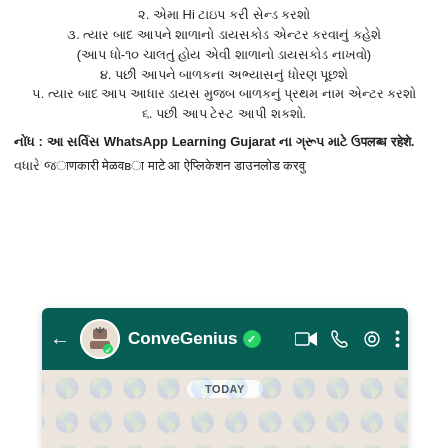૨. એમા Hi ટાઇપ કરી સેન્ડ કરશો
૩. ત્યાર બાદ આપને શાળાનો ડાયસકોડ એન્ટર કરવાનું કહેશે
(આપ ધો-૧૦ ચાલતું હોય એવી શાળાનો ડાયસકોડ નાખવો)
૪. પછી આપને બાળકના અભ્યાસનું ધોરણ પૂછશે
૫. ત્યાર બાદ આપ આધાર ડાયસ મુજબ બાળકનું પ્રથમ નામ એન્ટર કરશો
૬. પછી આપ ટેસ્ટ આપી શકશો.
નોંધ : આ સર્વિસ WhatsApp Learning Gujarat ના ગ્રૂપ માટે ઉપलब्ध रहेशे.
વધારે જાણकारी मेळवвा माटे आ ऐप्लिकेशन डाउनलोड करवु
[Figure (screenshot): WhatsApp chat screenshot showing ConveGenius verified contact header with green background, and chat area with TODAY badge and chat background pattern]